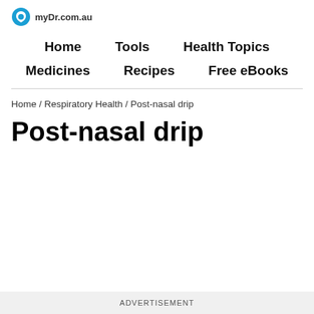myDr.com.au
Home    Tools    Health Topics    Medicines    Recipes    Free eBooks
Home / Respiratory Health / Post-nasal drip
Post-nasal drip
ADVERTISEMENT